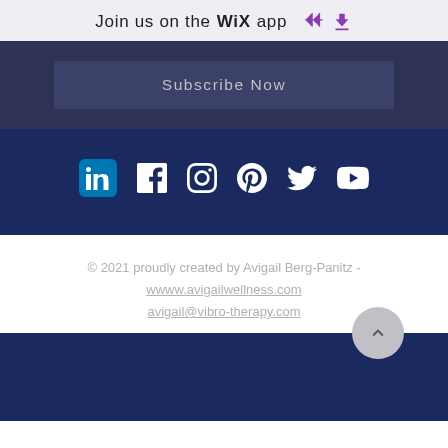Join us on the WiX app ⬇
Subscribe Now
[Figure (infographic): Social media icons row: LinkedIn, Facebook, Instagram, Pinterest, Twitter, YouTube on dark navy background]
© 2021 proudly created by Avigail Berg-Panitz - wwww.avigailwellness.com avigail@vibro-therapy.com